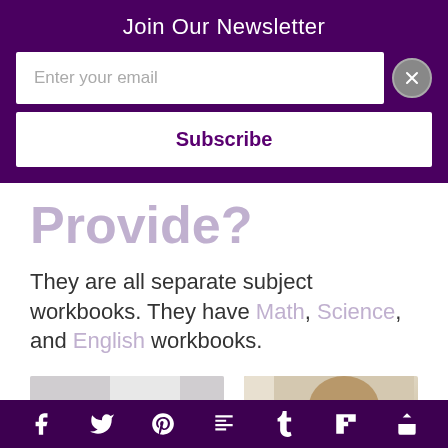Join Our Newsletter
Enter your email
Subscribe
Provide?
They are all separate subject workbooks. They have Math, Science, and English workbooks.
[Figure (photo): Two partial photos of students or children, cropped]
This website uses cookies to improve your experience. We'll assume you're ok with this, but you can opt-out if you wish.
Cookie settings  Accept
Social share icons: Facebook, Twitter, Pinterest, Mix, Tumblr, Flipboard, Share